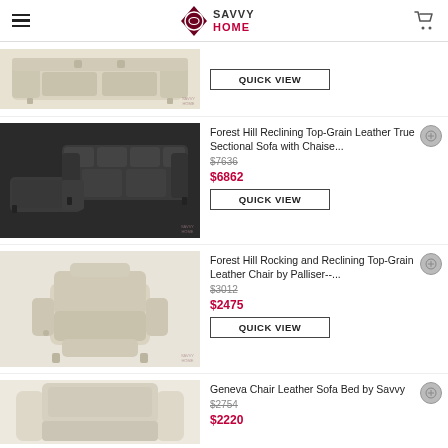Savvy Home
[Figure (photo): Partial view of a beige reclining sofa]
QUICK VIEW
Forest Hill Reclining Top-Grain Leather True Sectional Sofa with Chaise...
$7636
$6862
[Figure (photo): Dark brown leather sectional sofa with chaise and recliner]
QUICK VIEW
Forest Hill Rocking and Reclining Top-Grain Leather Chair by Palliser--...
$3012
$2475
[Figure (photo): Beige leather rocking recliner chair]
QUICK VIEW
Geneva Chair Leather Sofa Bed by Savvy
$2754
$2220
[Figure (photo): Partial view of a cream/beige leather chair]